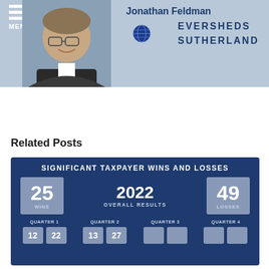[Figure (photo): Headshot photo of Jonathan Feldman on a blue-grey header bar with Eversheds Sutherland law firm logo and globe icon]
Jonathan Feldman
EVERSHEDS SUTHERLAND
Related Posts
[Figure (infographic): Significant Taxpayer Wins and Losses infographic showing 2022 overall results: 25 wins, 49 losses. Quarter 1: 12 wins, 22 losses. Quarter 2: 13 wins, 27 losses. Quarter 3 and Quarter 4 boxes are empty/greyed out.]